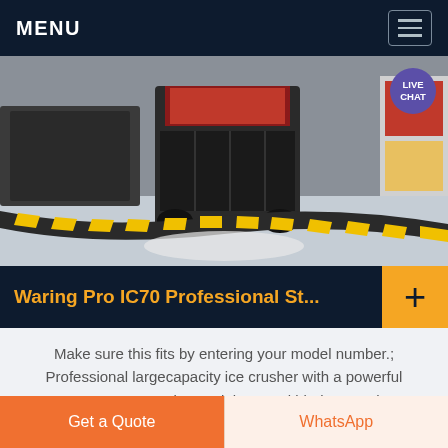MENU
[Figure (photo): Industrial ice crusher machine on display floor with yellow and black striped safety bumper in the foreground. LIVE CHAT bubble overlay in top right.]
Waring Pro IC70 Professional St...
Make sure this fits by entering your model number.; Professional largecapacity ice crusher with a powerful 150watt motor Heavyduty stainlesssteel blades; crushes up to 50 pounds of ice per hour
Get a Quote | WhatsApp